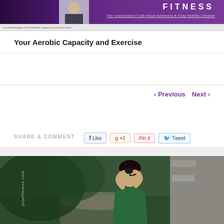FITNESS — The Unvarnished Truth About Achieving A Truly Healthy Lifestyle
Your Aerobic Capacity and Exercise
< Previous   Next >
SHARE & COMMENT
[Figure (screenshot): Social sharing buttons: Like (Facebook), +1 (Google+), Pin it (Pinterest), Tweet (Twitter)]
[Figure (photo): Woman in green top outdoors by a stone wall, hands behind head in exercise pose, watermark text visible]